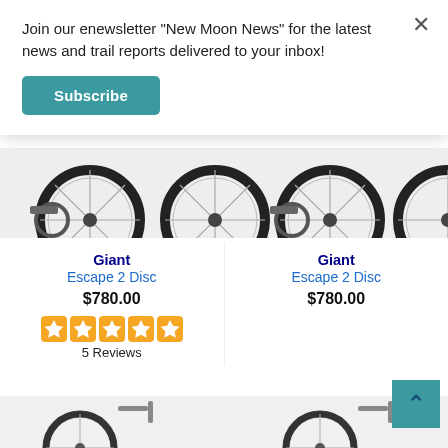Join our enewsletter "New Moon News" for the latest news and trail reports delivered to your inbox!
Subscribe
[Figure (photo): Cropped photo of two bicycles showing rear wheels, drivetrains, and disc brakes on a light background.]
Giant
Escape 2 Disc
$780.00
5 Reviews
Giant
Escape 2 Disc
$780.00
[Figure (photo): Partial view of bicycle components at the bottom of the page.]